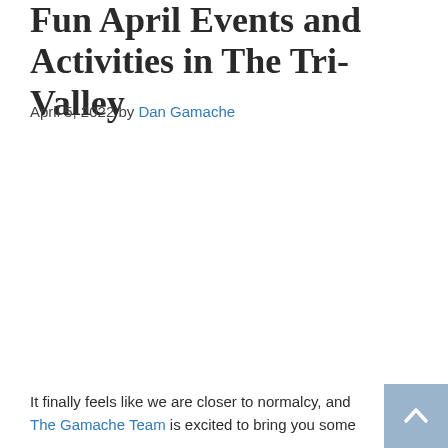Fun April Events and Activities in The Tri-Valley
April 5, 2022 by Dan Gamache
It finally feels like we are closer to normalcy, and The Gamache Team is excited to bring you some